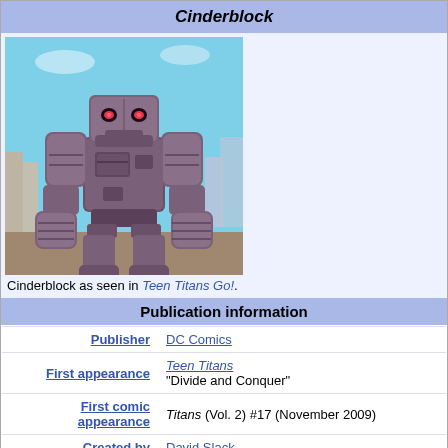Cinderblock
[Figure (illustration): Animated illustration of Cinderblock, a large grey stone robot with glowing red eyes, standing in front of a city skyline.]
Cinderblock as seen in Teen Titans Go!.
|  | Publication information |
| --- | --- |
| Publisher | DC Comics |
| First appearance | Teen Titans "Divide and Conquer" |
| First comic appearance | Titans (Vol. 2) #17 (November 2009) |
| Created by | David Slack |
| Voiced by | Dee Bradley Baker |
In-story information